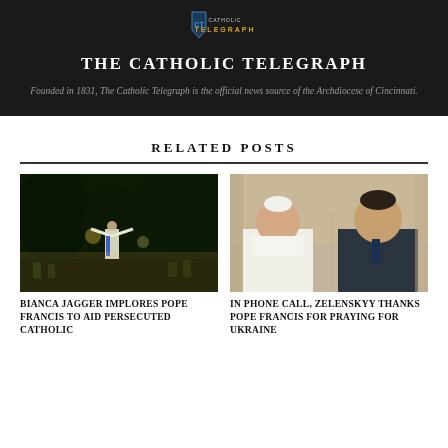[Figure (logo): Catholic Telegraph shield logo with blue and gold colors]
THE CATHOLIC TELEGRAPH
Founded in 1831, The Catholic Telegraph is the official news source of the Archdiocese of Cincinnati.
RELATED POSTS
[Figure (photo): Outdoor nighttime scene with person in white clothing raising arms in front of crowd and trees]
BIANCA JAGGER IMPLORES POPE FRANCIS TO AID PERSECUTED CATHOLIC
[Figure (photo): Pope Francis and Zelenskyy side-by-side portrait photo indoors]
IN PHONE CALL, ZELENSKYY THANKS POPE FRANCIS FOR PRAYING FOR UKRAINE